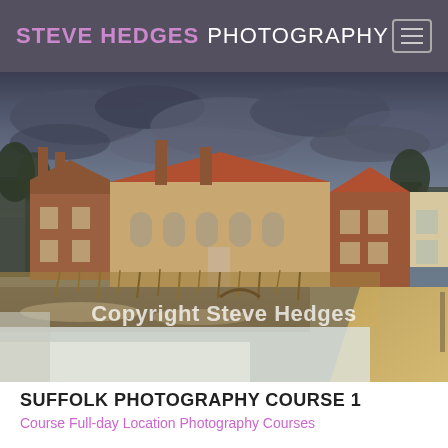STEVE HEDGES PHOTOGRAPHY
[Figure (photo): Photograph of a traditional English mill building with red brick walls, brown tiled roofs, multiple chimneys, arched windows, surrounded by reed beds and a frozen water mill pond in winter with snow on the ground. Dramatic overcast sky with dark grey clouds. A gravel path runs along the right side. A white copyright watermark reads 'Copyright Steve Hedges' overlaid on the lower center of the image.]
SUFFOLK PHOTOGRAPHY COURSE 1
Course Full-day Location Photography Courses